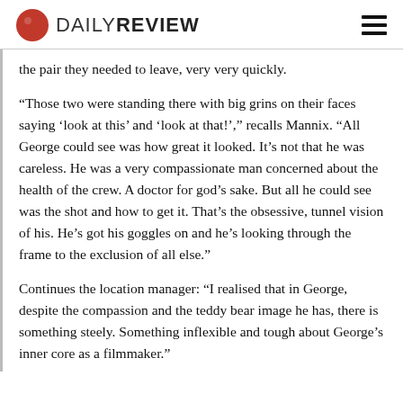DAILY REVIEW
the pair they needed to leave, very very quickly.
“Those two were standing there with big grins on their faces saying ‘look at this’ and ‘look at that!’,” recalls Mannix. “All George could see was how great it looked. It’s not that he was careless. He was a very compassionate man concerned about the health of the crew. A doctor for god’s sake. But all he could see was the shot and how to get it. That’s the obsessive, tunnel vision of his. He’s got his goggles on and he’s looking through the frame to the exclusion of all else.”
Continues the location manager: “I realised that in George, despite the compassion and the teddy bear image he has, there is something steely. Something inflexible and tough about George’s inner core as a filmmaker.”